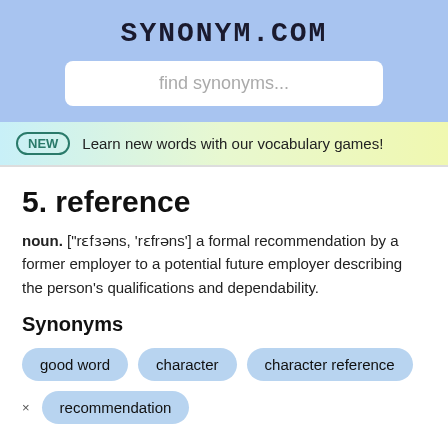SYNONYM.COM
find synonyms...
NEW  Learn new words with our vocabulary games!
5. reference
noun. ["rɛfɜəns, 'rɛfrəns'] a formal recommendation by a former employer to a potential future employer describing the person's qualifications and dependability.
Synonyms
good word
character
character reference
recommendation